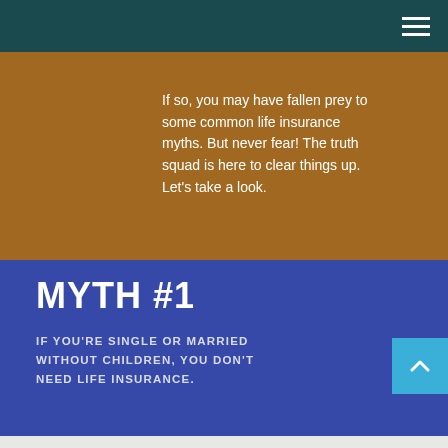If so, you may have fallen prey to some common life insurance myths. But never fear! The truth squad is here to clear things up. Let's take a look.
MYTH #1
IF YOU'RE SINGLE OR MARRIED WITHOUT CHILDREN, YOU DON'T NEED LIFE INSURANCE.